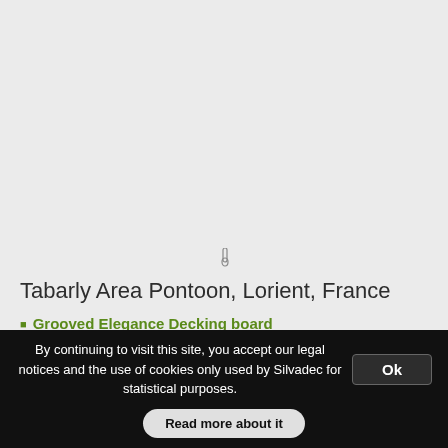[Figure (map): Light grey map background with a location pin marker in the center area]
Tabarly Area Pontoon, Lorient, France
Grooved Elegance Decking board
Discover
By continuing to visit this site, you accept our legal notices and the use of cookies only used by Silvadec for statistical purposes.
Ok
Read more about it